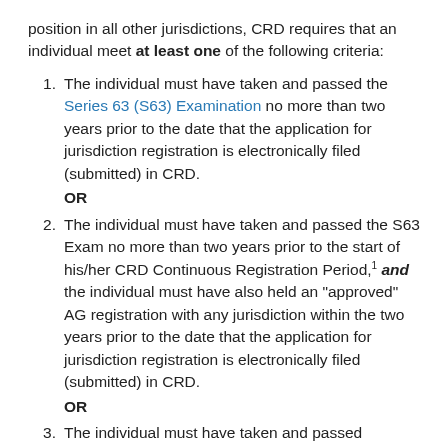position in all other jurisdictions, CRD requires that an individual meet at least one of the following criteria:
The individual must have taken and passed the Series 63 (S63) Examination no more than two years prior to the date that the application for jurisdiction registration is electronically filed (submitted) in CRD.
OR
The individual must have taken and passed the S63 Exam no more than two years prior to the start of his/her CRD Continuous Registration Period,1 and the individual must have also held an "approved" AG registration with any jurisdiction within the two years prior to the date that the application for jurisdiction registration is electronically filed (submitted) in CRD.
OR
The individual must have taken and passed